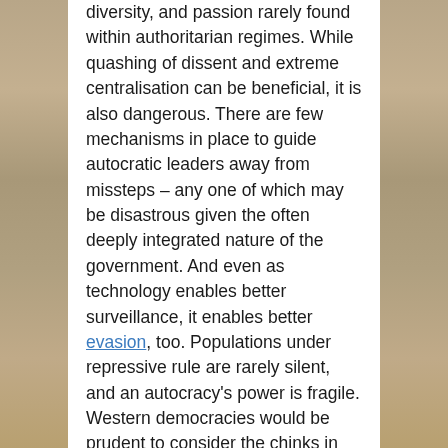diversity, and passion rarely found within authoritarian regimes. While quashing of dissent and extreme centralisation can be beneficial, it is also dangerous. There are few mechanisms in place to guide autocratic leaders away from missteps – any one of which may be disastrous given the often deeply integrated nature of the government. And even as technology enables better surveillance, it enables better evasion, too. Populations under repressive rule are rarely silent, and an autocracy's power is fragile. Western democracies would be prudent to consider the chinks in autocracies' armour, even as they reckon with the large chinks in their own. Modern conflict favours autocracies, and the democratic West must prepare to face this new reality.